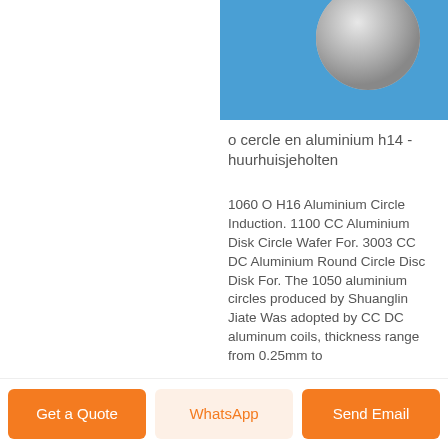[Figure (photo): Aluminium circle/disc product photo on blue background]
o cercle en aluminium h14 - huurhuisjeholten
1060 O H16 Aluminium Circle Induction. 1100 CC Aluminium Disk Circle Wafer For. 3003 CC DC Aluminium Round Circle Disc Disk For. The 1050 aluminium circles produced by Shuanglin Jiate Was adopted by CC DC aluminum coils, thickness range from 0.25mm to
Get a Quote | WhatsApp | Send Email